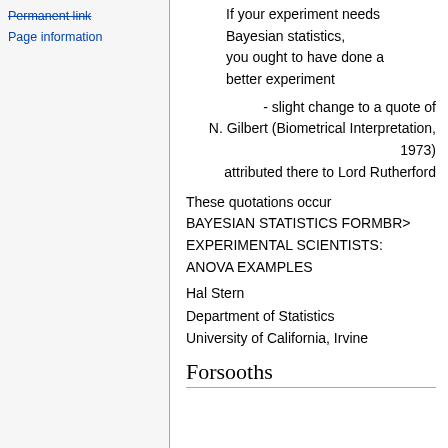Permanent link
Page information
If your experiment needs Bayesian statistics, you ought to have done a better experiment
- slight change to a quote of N. Gilbert (Biometrical Interpretation, 1973) attributed there to Lord Rutherford
These quotations occur BAYESIAN STATISTICS FORMBR> EXPERIMENTAL SCIENTISTS: ANOVA EXAMPLES
Hal Stern
Department of Statistics
University of California, Irvine
Forsooths